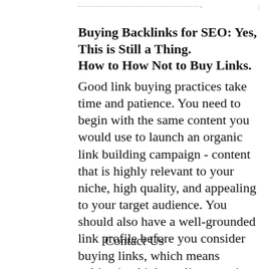Buying Backlinks for SEO: Yes, This is Still a Thing.
How to How Not to Buy Links.
Good link buying practices take time and patience. You need to begin with the same content you would use to launch an organic link building campaign - content that is highly relevant to your niche, high quality, and appealing to your target audience. You should also have a well-grounded link profile before you consider buying links, which means cultivating high-quality organic backlinks first.
Contact Us